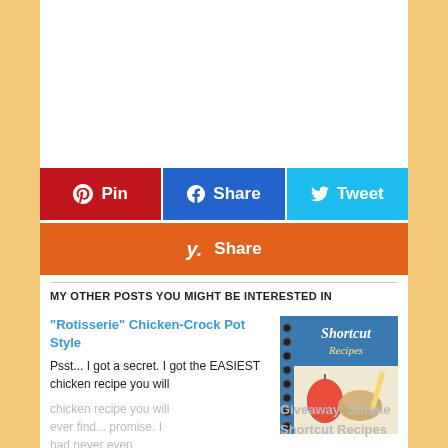[Figure (other): Social share buttons row 1: Pin (red), Share (blue Facebook), Tweet (light blue Twitter)]
[Figure (other): Social share button row 2: Yummly Share (orange)]
MY OTHER POSTS YOU MIGHT BE INTERESTED IN
"Rotisserie" Chicken-Crock Pot Style
Psst... I got a secret.  I got the EASIEST chicken recipe you will ever find... promise. I had never even
[Figure (photo): Image of a Shortcut Recipes cookbook with food items]
Giveaway: Simple Shortcut Recipes